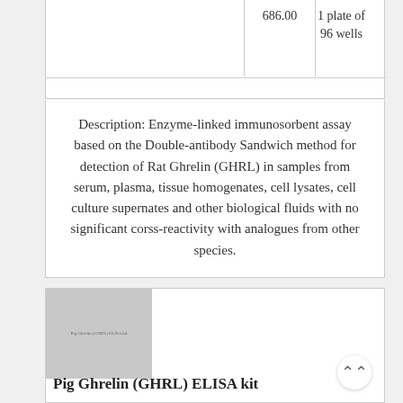|  |  | 686.00 | 1 plate of 96 wells |
| --- | --- | --- | --- |
|  |
Description: Enzyme-linked immunosorbent assay based on the Double-antibody Sandwich method for detection of Rat Ghrelin (GHRL) in samples from serum, plasma, tissue homogenates, cell lysates, cell culture supernates and other biological fluids with no significant corss-reactivity with analogues from other species.
[Figure (photo): Product image placeholder for Pig Ghrelin (GHRL) ELISA kit showing a grey box with small text label]
Pig Ghrelin (GHRL) ELISA kit